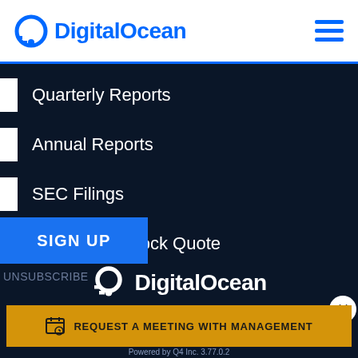DigitalOcean
Quarterly Reports
Annual Reports
SEC Filings
End of Day Stock Quote
SIGN UP
UNSUBSCRIBE
[Figure (logo): DigitalOcean logo in white on dark background]
REQUEST A MEETING WITH MANAGEMENT
Powered by Q4 Inc. 3.77.0.2